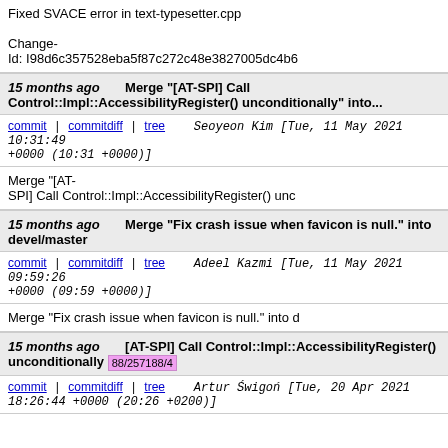Fixed SVACE error in text-typesetter.cpp

Change-Id: I98d6c357528eba5f87c272c48e3827005dc4b6...
15 months ago   Merge "[AT-SPI] Call Control::Impl::AccessibilityRegister() unconditionally" into...
commit | commitdiff | tree   Seoyeon Kim [Tue, 11 May 2021 10:31:49 +0000 (10:31 +0000)]
Merge "[AT-SPI] Call Control::Impl::AccessibilityRegister() unc...
15 months ago   Merge "Fix crash issue when favicon is null." into devel/master
commit | commitdiff | tree   Adeel Kazmi [Tue, 11 May 2021 09:59:26 +0000 (09:59 +0000)]
Merge "Fix crash issue when favicon is null." into d...
15 months ago   [AT-SPI] Call Control::Impl::AccessibilityRegister() unconditionally 88/257188/4
commit | commitdiff | tree   Artur Świgoń [Tue, 20 Apr 2021 18:26:44 +0000 (20:26 +0200)]